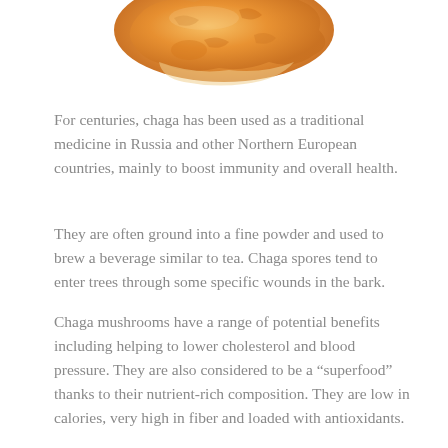[Figure (photo): Partial view of dried chaga mushroom pieces, orange-brown colored, cropped at top of page]
For centuries, chaga has been used as a traditional medicine in Russia and other Northern European countries, mainly to boost immunity and overall health.
They are often ground into a fine powder and used to brew a beverage similar to tea. Chaga spores tend to enter trees through some specific wounds in the bark.
Chaga mushrooms have a range of potential benefits including helping to lower cholesterol and blood pressure. They are also considered to be a “superfood” thanks to their nutrient-rich composition. They are low in calories, very high in fiber and loaded with antioxidants.